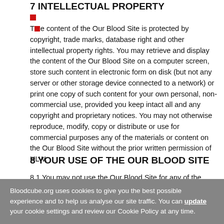7 INTELLECTUAL PROPERTY
The content of the Our Blood Site is protected by copyright, trade marks, database right and other intellectual property rights. You may retrieve and display the content of the Our Blood Site on a computer screen, store such content in electronic form on disk (but not any server or other storage device connected to a network) or print one copy of such content for your own personal, non-commercial use, provided you keep intact all and any copyright and proprietary notices. You may not otherwise reproduce, modify, copy or distribute or use for commercial purposes any of the materials or content on the Our Blood Site without the prior written permission of HLW.
8 YOUR USE OF THE OUR BLOOD SITE
8.1 You may not use the Our Blood Site for any of the following
Bloodcube.org uses cookies to give you the best possible experience and to help us analyse our site traffic. You can update your cookie settings and review our Cookie Policy at any time.